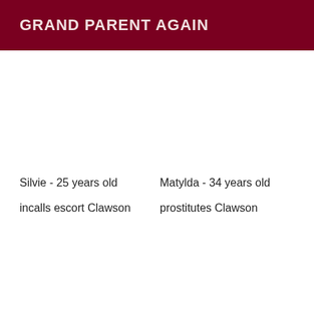GRAND PARENT AGAIN
Silvie - 25 years old
incalls escort Clawson
Matylda - 34 years old
prostitutes Clawson